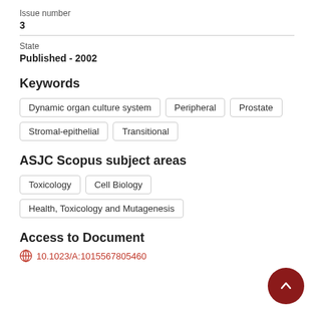Issue number
3
State
Published - 2002
Keywords
Dynamic organ culture system
Peripheral
Prostate
Stromal-epithelial
Transitional
ASJC Scopus subject areas
Toxicology
Cell Biology
Health, Toxicology and Mutagenesis
Access to Document
10.1023/A:1015567805460